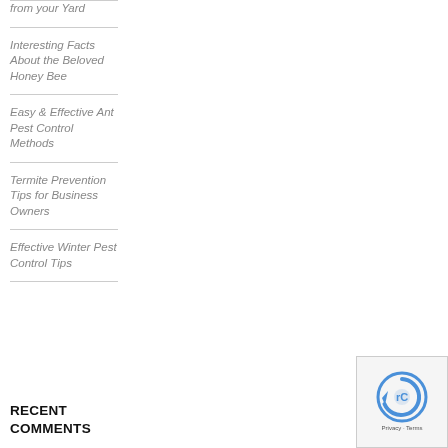from your Yard
Interesting Facts About the Beloved Honey Bee
Easy & Effective Ant Pest Control Methods
Termite Prevention Tips for Business Owners
Effective Winter Pest Control Tips
RECENT COMMENTS
[Figure (logo): reCAPTCHA logo with Privacy and Terms text]